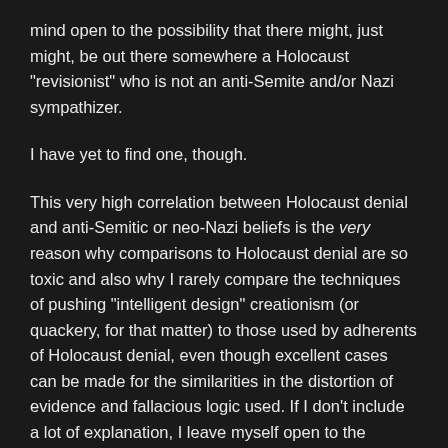mind open to the possibility that there might, just might, be out there somewhere a Holocaust "revisionist" who is not an anti-Semite and/or Nazi sympathizer.
I have yet to find one, though.
This very high correlation between Holocaust denial and anti-Semitic or neo-Nazi beliefs is the very reason why comparisons to Holocaust denial are so toxic and also why I rarely compare the techniques of pushing "intelligent design" creationism (or quackery, for that matter) to those used by adherents of Holocaust denial, even though excellent cases can be made for the similarities in the distortion of evidence and fallacious logic used. If I don't include a lot of explanation, I leave myself open to the charge of comparing creationists to anti-Semites and/or Nazis. Unfortunately, by the time I get through all the qualifications and explanations necessary to try to convince people that I am not implying that creationists are anti-Semites or Nazis, the message ends up hopelessly